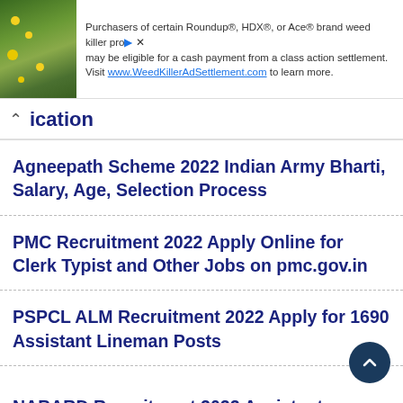[Figure (screenshot): Advertisement banner for Roundup/HDX/Ace weed killer class action settlement at WeedKillerAdSettlement.com]
ication
Agneepath Scheme 2022 Indian Army Bharti, Salary, Age, Selection Process
PMC Recruitment 2022 Apply Online for Clerk Typist and Other Jobs on pmc.gov.in
PSPCL ALM Recruitment 2022 Apply for 1690 Assistant Lineman Posts
NABARD Recruitment 2022 Assistant Manager